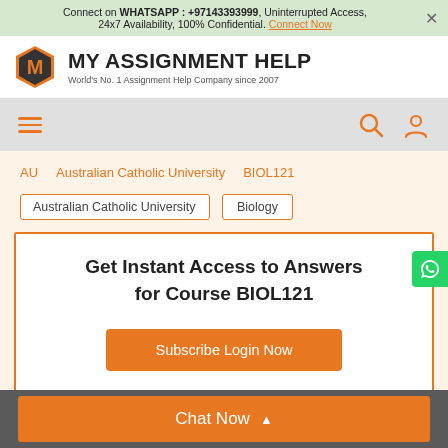Connect on WHATSAPP : +97143393999, Uninterrupted Access, 24x7 Availability, 100% Confidential. Connect Now
[Figure (logo): My Assignment Help logo - hexagon M icon with company name and tagline]
World's No. 1 Assignment Help Company since 2007
Breadcrumb: AU > Australian Catholic University > BIOL121
Filter tags: Australian Catholic University | Biology
Get Instant Access to Answers for Course BIOL121
Subscribe Login Now
Chat Now